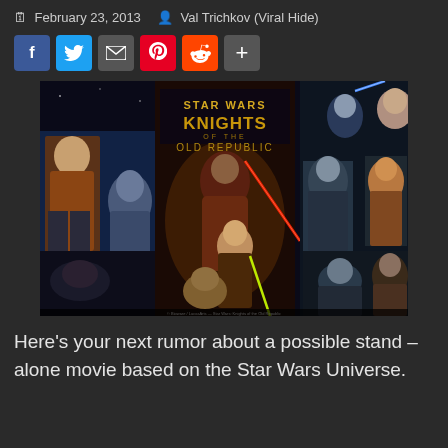February 23, 2013  Val Trichkov (Viral Hide)
[Figure (other): Social sharing buttons: Facebook (blue), Twitter (blue), Email (dark grey), Pinterest (red), Reddit (orange), Plus/Share (grey)]
[Figure (photo): Star Wars: Knights of the Old Republic promotional artwork showing various characters from the game including a Jedi with a red lightsaber, a female protagonist with a yellow lightsaber, and multiple other characters from the game set against a space backdrop.]
Here's your next rumor about a possible stand – alone movie based on the Star Wars Universe.